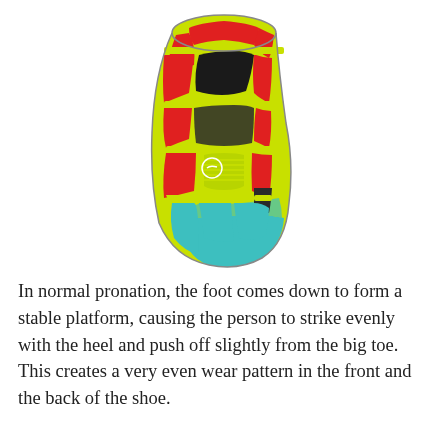[Figure (photo): Bottom/sole view of a running shoe showing tread pattern with red rubber sections, yellow-green midsole channels, teal heel section, and dark grey areas. The shoe sole is oriented with toe at top and heel at bottom.]
In normal pronation, the foot comes down to form a stable platform, causing the person to strike evenly with the heel and push off slightly from the big toe. This creates a very even wear pattern in the front and the back of the shoe.